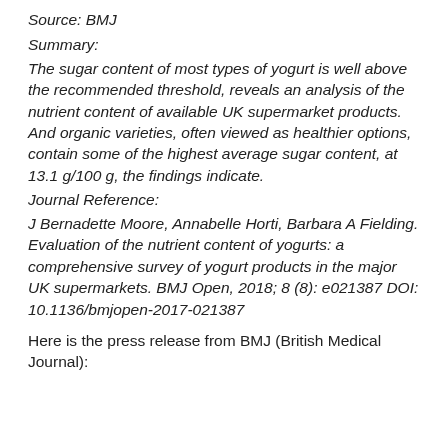Source: BMJ
Summary:
The sugar content of most types of yogurt is well above the recommended threshold, reveals an analysis of the nutrient content of available UK supermarket products. And organic varieties, often viewed as healthier options, contain some of the highest average sugar content, at 13.1 g/100 g, the findings indicate.
Journal Reference:
J Bernadette Moore, Annabelle Horti, Barbara A Fielding. Evaluation of the nutrient content of yogurts: a comprehensive survey of yogurt products in the major UK supermarkets. BMJ Open, 2018; 8 (8): e021387 DOI: 10.1136/bmjopen-2017-021387
Here is the press release from BMJ (British Medical Journal):